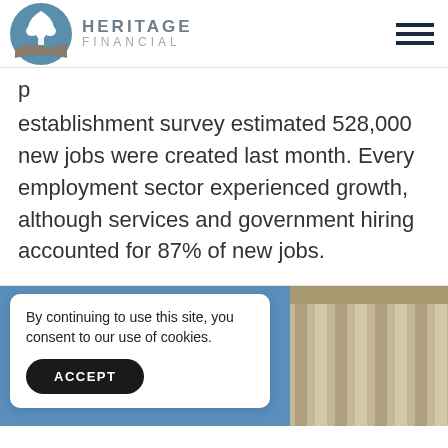[Figure (logo): Heritage Financial logo with tree icon in blue circle and company name]
establishment survey estimated 528,000 new jobs were created last month. Every employment sector experienced growth, although services and government hiring accounted for 87% of new jobs.
[Figure (photo): Partial view of a building with blue sky, partially obscured by cookie consent banner]
By continuing to use this site, you consent to our use of cookies.
ACCEPT